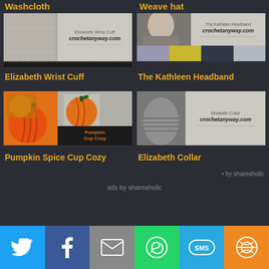Washcloth
Weave hat
[Figure (photo): Elizabeth Wrist Cuff - crochetanyway.com product image]
Elizabeth Wrist Cuff
[Figure (photo): The Kathleen Headband - crochetanyway.com product image]
The Kathleen Headband
[Figure (photo): Pumpkin Cup Cozy - orange crocheted pumpkin cup cozy]
Pumpkin Spice Cup Cozy
[Figure (photo): Elizabeth Collar - crochetanyway.com product image]
Elizabeth Collar
• by shareaholic
ads by shareaholic